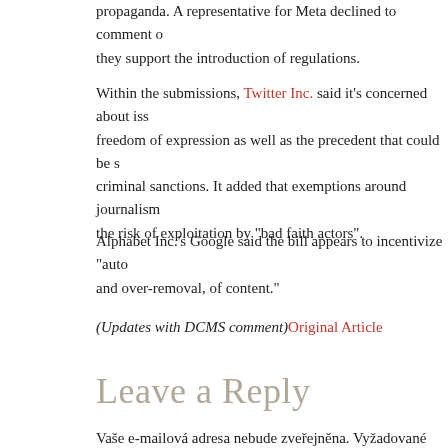propaganda. A representative for Meta declined to comment on whether they support the introduction of regulations.
Within the submissions, Twitter Inc. said it's concerned about issues of freedom of expression as well as the precedent that could be set by criminal sanctions. It added that exemptions around journalism increase the risk of exploitation by "bad faith actors".
Alphabet Inc.'s Google said the bill appears to incentivize "auto... and over-removal, of content."
(Updates with DCMS comment) Original Article
Leave a Reply
Vaše e-mailová adresa nebude zveřejněna. Vyžadované inform...
Komentář
[Figure (other): Comment text input box]